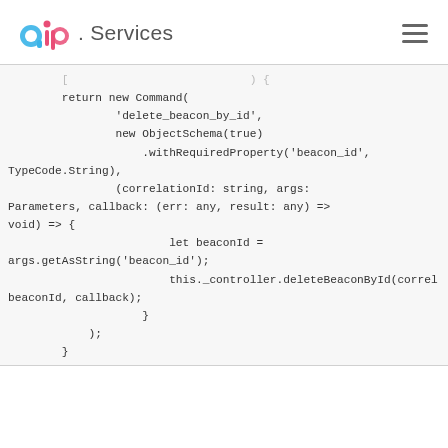qip.Services
[Figure (screenshot): Code snippet showing a return new Command block with delete_beacon_by_id, ObjectSchema, withRequiredProperty, correlationId, args, beaconId and callback parameters]
return new Command(
            'delete_beacon_by_id',
            new ObjectSchema(true)
                .withRequiredProperty('beacon_id',
TypeCode.String),
            (correlationId: string, args:
Parameters, callback: (err: any, result: any) =>
void) => {
                    let beaconId =
args.getAsString('beacon_id');
                    this._controller.deleteBeaconById(correl
beaconId, callback);
                }
        );
    }